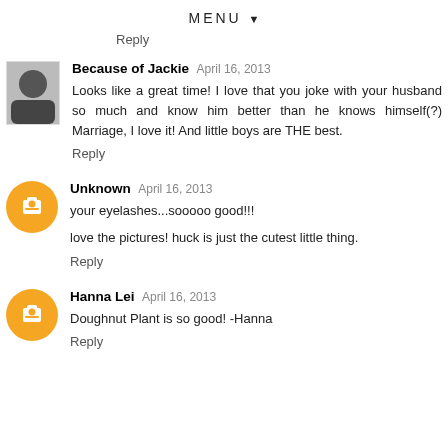MENU ▼
Reply
Because of Jackie   April 16, 2013
Looks like a great time! I love that you joke with your husband so much and know him better than he knows himself(?) Marriage, I love it! And little boys are THE best.
Reply
Unknown   April 16, 2013
your eyelashes...sooooo good!!!
love the pictures! huck is just the cutest little thing.
Reply
Hanna Lei   April 16, 2013
Doughnut Plant is so good! -Hanna
Reply